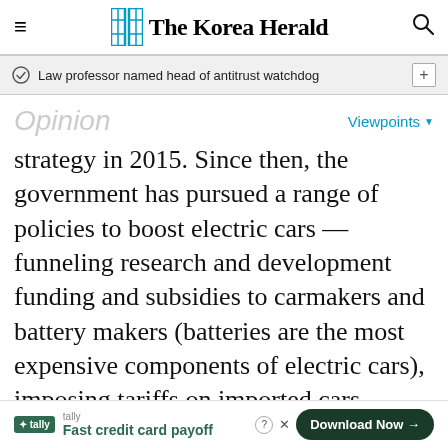The Korea Herald
Law professor named head of antitrust watchdog
Opinion
Viewpoints
strategy in 2015. Since then, the government has pursued a range of policies to boost electric cars — funneling research and development funding and subsidies to carmakers and battery makers (batteries are the most expensive components of electric cars), imposing tariffs on imported cars, squeezing technology out of foreign joint-venture partners and issuing incentives and
tally Fast credit card payoff Download Now →